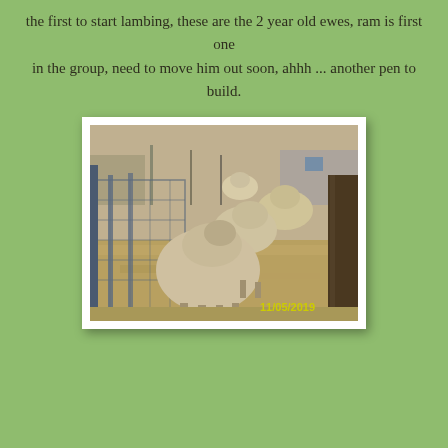the first to start lambing, these are the 2 year old ewes, ram is first one
in the group, need to move him out soon, ahhh ... another pen to build.
[Figure (photo): A photograph dated 11/05/2019 showing several woolly sheep (ewes) in a pen/paddock with dry grass ground cover, a wire fence panel on the left, and a tree trunk on the right. The sheep appear to be eating or grazing.]